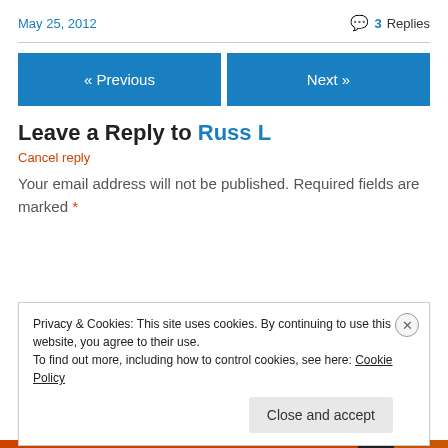May 25, 2012
3 Replies
« Previous
Next »
Leave a Reply to Russ L
Cancel reply
Your email address will not be published. Required fields are marked *
Privacy & Cookies: This site uses cookies. By continuing to use this website, you agree to their use. To find out more, including how to control cookies, see here: Cookie Policy
Close and accept